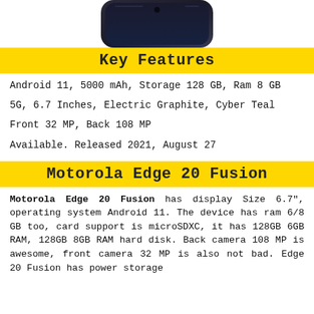[Figure (photo): Top portion of a Motorola Edge 20 Fusion smartphone showing the upper half of the device against a dark background]
Key Features
Android 11, 5000 mAh, Storage 128 GB, Ram 8 GB
5G, 6.7 Inches, Electric Graphite, Cyber Teal
Front 32 MP, Back 108 MP
Available. Released 2021, August 27
Motorola Edge 20 Fusion
Motorola Edge 20 Fusion has display Size 6.7", operating system Android 11. The device has ram 6/8 GB too, card support is microSDXC, it has 128GB 6GB RAM, 128GB 8GB RAM hard disk. Back camera 108 MP is awesome, front camera 32 MP is also not bad. Edge 20 Fusion has power storage 5000 mAh. Device status is Available. Released 2021, August 27.